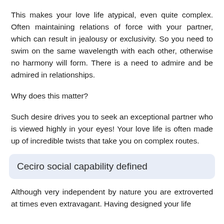This makes your love life atypical, even quite complex. Often maintaining relations of force with your partner, which can result in jealousy or exclusivity. So you need to swim on the same wavelength with each other, otherwise no harmony will form. There is a need to admire and be admired in relationships.
Why does this matter?
Such desire drives you to seek an exceptional partner who is viewed highly in your eyes! Your love life is often made up of incredible twists that take you on complex routes.
Ceciro social capability defined
Although very independent by nature you are extroverted at times even extravagant. Having designed your life